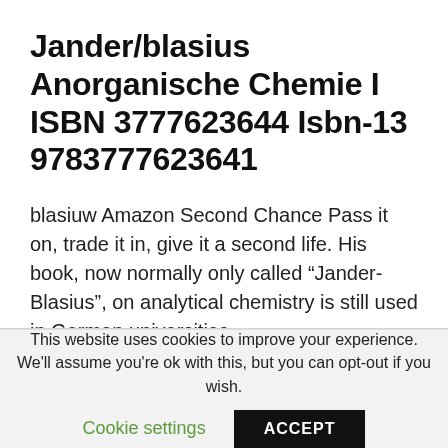Jander/blasius Anorganische Chemie I ISBN 3777623644 Isbn-13 9783777623641
blasiuw Amazon Second Chance Pass it on, trade it in, give it a second life. His book, now normally only called “Jander-Blasius”, on analytical chemistry is still used in German universities.
This website uses cookies to improve your experience. We'll assume you're ok with this, but you can opt-out if you wish.